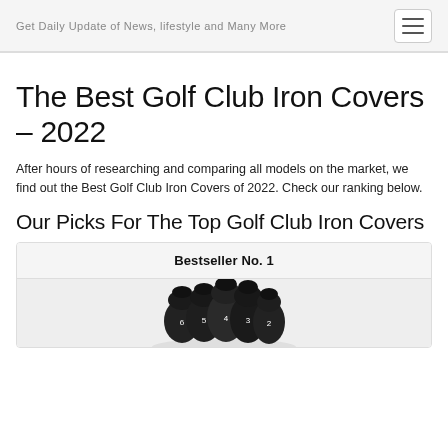Get Daily Update of News, lifestyle and Many More
The Best Golf Club Iron Covers – 2022
After hours of researching and comparing all models on the market, we find out the Best Golf Club Iron Covers of 2022. Check our ranking below.
Our Picks For The Top Golf Club Iron Covers
| Bestseller No. 1 |
| --- |
| [product image] |